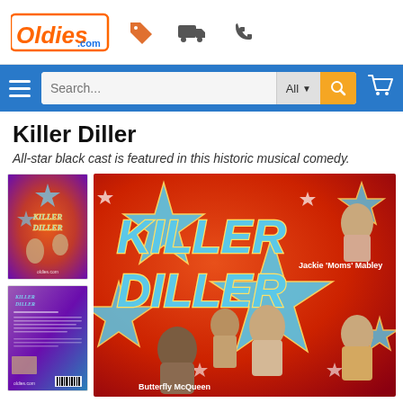[Figure (logo): Oldies.com website logo in orange italic with .com in blue, alongside navigation icons: price tag, delivery truck, phone]
[Figure (screenshot): Blue navigation bar with hamburger menu, search input field with 'Search...' placeholder, 'All' dropdown, orange search button, and shopping cart icon]
Killer Diller
All-star black cast is featured in this historic musical comedy.
[Figure (photo): Small thumbnail of Killer Diller DVD front cover showing movie poster art with stars and cast members]
[Figure (photo): Small thumbnail of Killer Diller DVD back cover with purple/blue gradient and text]
[Figure (photo): Large main image of Killer Diller movie poster with red/orange background, blue star shapes, bold 'KILLER DILLER' text in blue with yellow outlines, cast members including Jackie Moms Mabley and Butterfly McQueen]